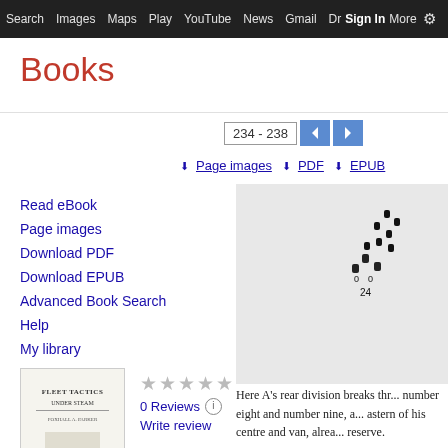Search  Images  Maps  Play  YouTube  News  Gmail  Drive  More  Sign In
Books
234 - 238
Page images
PDF
EPUB
Read eBook
Page images
Download PDF
Download EPUB
Advanced Book Search
Help
My library
[Figure (illustration): Book cover of Fleet Tactics Under Steam]
0 Reviews
Write review
Fleet Tactics Under Steam
By Foxhall Alexander Parker
[Figure (illustration): Scanned page image showing tactical diagram with numbered ship positions]
Here A's rear division breaks thr... number eight and number nine, a... astern of his centre and van, alrea... reserve.